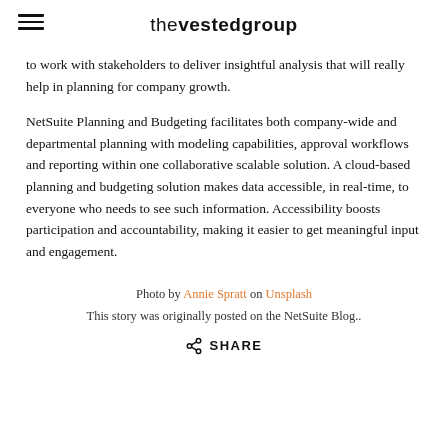thevestedgroup
to work with stakeholders to deliver insightful analysis that will really help in planning for company growth.
NetSuite Planning and Budgeting facilitates both company-wide and departmental planning with modeling capabilities, approval workflows and reporting within one collaborative scalable solution. A cloud-based planning and budgeting solution makes data accessible, in real-time, to everyone who needs to see such information. Accessibility boosts participation and accountability, making it easier to get meaningful input and engagement.
Photo by Annie Spratt on Unsplash
This story was originally posted on the NetSuite Blog.
SHARE